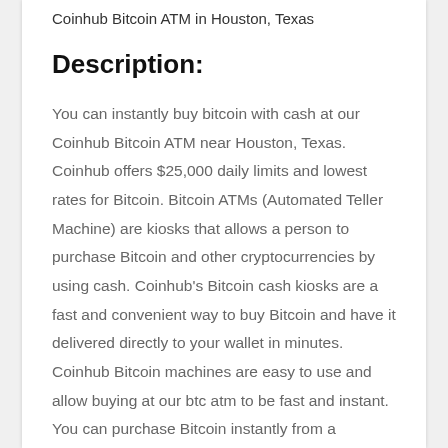Coinhub Bitcoin ATM in Houston, Texas
Description:
You can instantly buy bitcoin with cash at our Coinhub Bitcoin ATM near Houston, Texas. Coinhub offers $25,000 daily limits and lowest rates for Bitcoin. Bitcoin ATMs (Automated Teller Machine) are kiosks that allows a person to purchase Bitcoin and other cryptocurrencies by using cash. Coinhub's Bitcoin cash kiosks are a fast and convenient way to buy Bitcoin and have it delivered directly to your wallet in minutes. Coinhub Bitcoin machines are easy to use and allow buying at our btc atm to be fast and instant. You can purchase Bitcoin instantly from a Coinhub Bitcoin Machine located near you and receive it in minutes. Purchases can be done in under 2 minutes and there is no prior account needed. Simply walk up